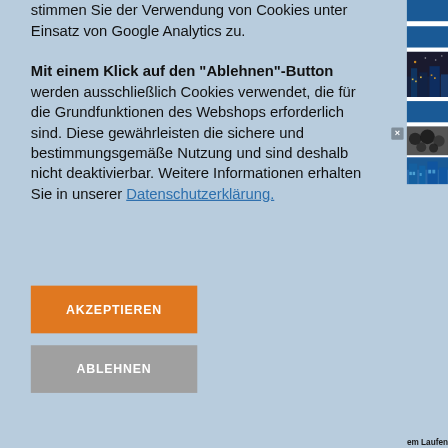stimmen Sie der Verwendung von Cookies unter Einsatz von Google Analytics zu. Mit einem Klick auf den "Ablehnen"-Button werden ausschließlich Cookies verwendet, die für die Grundfunktionen des Webshops erforderlich sind. Diese gewährleisten die sichere und bestimmungsgemäße Nutzung und sind deshalb nicht deaktivierbar. Weitere Informationen erhalten Sie in unserer Datenschutzerklärung.
AKZEPTIEREN
ABLEHNEN
[Figure (screenshot): Right side panel showing blue bars, a night cityscape image, a blurred dark circles image, and a blue building image with close X button and partial text 'em Laufen']